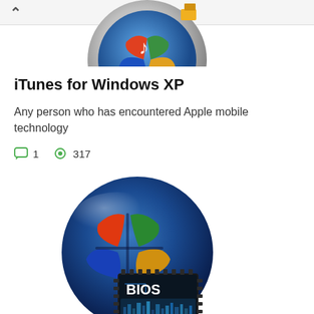[Figure (screenshot): Top navigation bar with back chevron arrow]
[Figure (illustration): iTunes for Windows XP app icon - circular metallic frame with Windows XP logo and music note, partially cropped at top]
iTunes for Windows XP
Any person who has encountered Apple mobile technology
1  317
[Figure (illustration): Windows XP globe logo icon in dark blue glossy circle with colorful Windows flag logo, overlaid with a BIOS chip image in lower right corner]